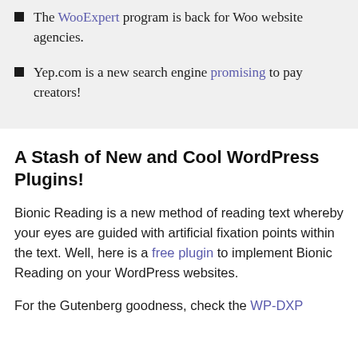The WooExpert program is back for Woo website agencies.
Yep.com is a new search engine promising to pay creators!
A Stash of New and Cool WordPress Plugins!
Bionic Reading is a new method of reading text whereby your eyes are guided with artificial fixation points within the text. Well, here is a free plugin to implement Bionic Reading on your WordPress websites.
For the Gutenberg goodness, check the WP-DXP